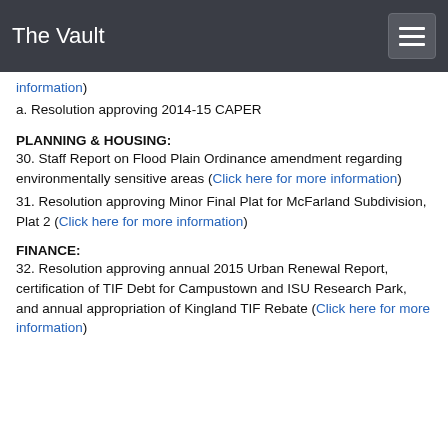The Vault
information)
a. Resolution approving 2014-15 CAPER
PLANNING & HOUSING:
30. Staff Report on Flood Plain Ordinance amendment regarding environmentally sensitive areas (Click here for more information)
31. Resolution approving Minor Final Plat for McFarland Subdivision, Plat 2 (Click here for more information)
FINANCE:
32. Resolution approving annual 2015 Urban Renewal Report, certification of TIF Debt for Campustown and ISU Research Park, and annual appropriation of Kingland TIF Rebate (Click here for more information)